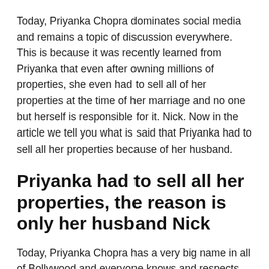Today, Priyanka Chopra dominates social media and remains a topic of discussion everywhere. This is because it was recently learned from Priyanka that even after owning millions of properties, she even had to sell all of her properties at the time of her marriage and no one but herself is responsible for it. Nick. Now in the article we tell you what is said that Priyanka had to sell all her properties because of her husband.
Priyanka had to sell all her properties, the reason is only her husband Nick
Today, Priyanka Chopra has a very big name in all of Bollywood and everyone knows and respects her very well. This is because Priyanka Chopra has made a lot of movies